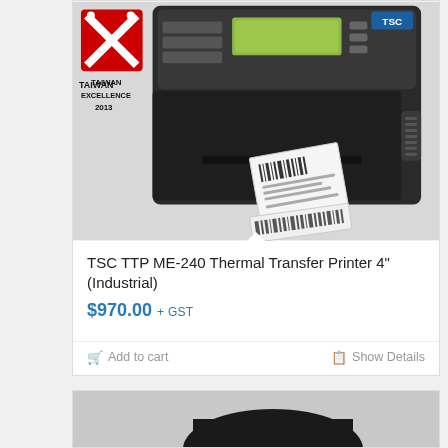[Figure (photo): TSC TTP ME-240 Thermal Transfer Industrial Printer with Taiwan Excellence 2013 logo, showing a dark barcode printer with green LCD display, buttons panel, and a label being printed.]
TSC TTP ME-240 Thermal Transfer Printer 4" (Industrial)
$970.00 + GST
Add to cart
Show Details
[Figure (photo): Partial view of a second printer product card at the bottom of the page.]